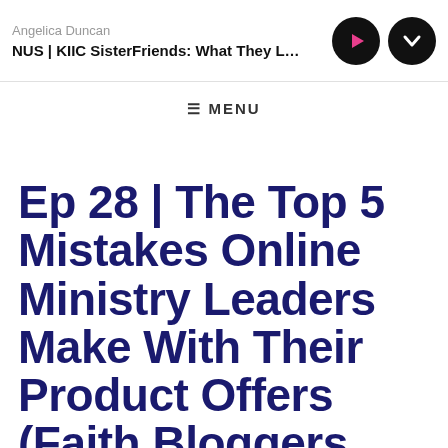Angelica Duncan
NUS | KIIC SisterFriends: What They Love Mos
≡ MENU
Ep 28 | The Top 5 Mistakes Online Ministry Leaders Make With Their Product Offers (Faith Bloggers